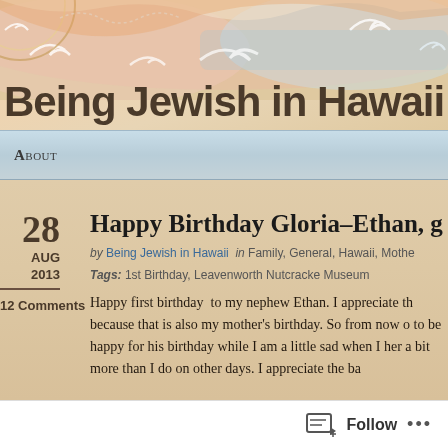[Figure (illustration): Decorative website header banner with colorful illustrated art including waves, swirls, and partial circular mandala/ornamental design in pink, blue, orange, and cream tones on a sandy/tan background]
Being Jewish in Hawaii
About
Happy Birthday Gloria–Ethan, g
28 AUG 2013 by Being Jewish in Hawaii in Family, General, Hawaii, Mothe Tags: 1st Birthday, Leavenworth Nutcracke Museum 12 Comments
Happy first birthday  to my nephew Ethan. I appreciate th because that is also my mother's birthday. So from now o to be happy for his birthday while I am a little sad when I her a bit more than I do on other days. I appreciate the ba